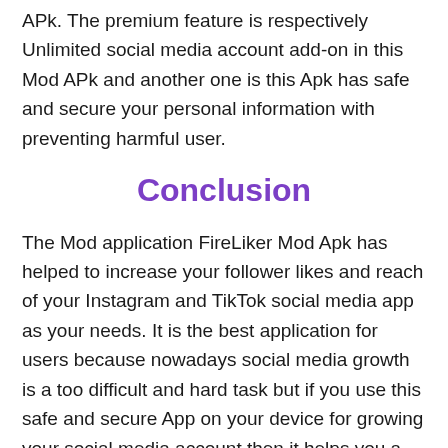APk. The premium feature is respectively Unlimited social media account add-on in this Mod APk and another one is this Apk has safe and secure your personal information with preventing harmful user.
Conclusion
The Mod application FireLiker Mod Apk has helped to increase your follower likes and reach of your Instagram and TikTok social media app as your needs. It is the best application for users because nowadays social media growth is a too difficult and hard task but if you use this safe and secure App on your device for growing your social media account then it helps you a lot. I wish you can complete download this Mod APk on your device for